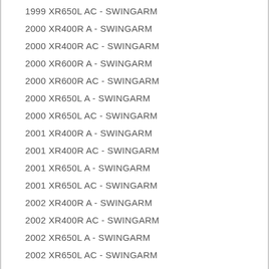1999 XR650L AC - SWINGARM
2000 XR400R A - SWINGARM
2000 XR400R AC - SWINGARM
2000 XR600R A - SWINGARM
2000 XR600R AC - SWINGARM
2000 XR650L A - SWINGARM
2000 XR650L AC - SWINGARM
2001 XR400R A - SWINGARM
2001 XR400R AC - SWINGARM
2001 XR650L A - SWINGARM
2001 XR650L AC - SWINGARM
2002 XR400R A - SWINGARM
2002 XR400R AC - SWINGARM
2002 XR650L A - SWINGARM
2002 XR650L AC - SWINGARM
2003 XR400R A - SWINGARM
2003 XR400R A/A - SWINGARM
2003 XR400R AC - SWINGARM